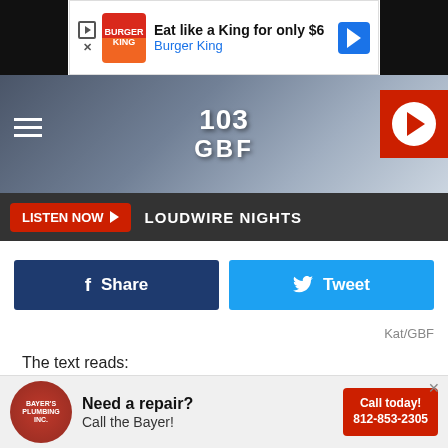[Figure (screenshot): Burger King advertisement banner: 'Eat like a King for only $6 - Burger King' with logo and navigation arrow icon]
[Figure (logo): 103 GBF radio station header logo on gradient background with hamburger menu and play button]
LISTEN NOW  LOUDWIRE NIGHTS
[Figure (screenshot): Facebook Share and Twitter Tweet social sharing buttons]
Kat/GBF
The text reads:
INDIANA DEPARTMENT OF WORKFORCE DEVELOPMENT: Your Back2Work deposit of 5,800.00 is no available, click on (link) to recieve payment
Luckily Kat knew instantly it was a scam, but some may not
[Figure (screenshot): Bayer's Plumbing advertisement banner: 'Need a repair? Call the Bayer!' with Call today! 812-853-2305]